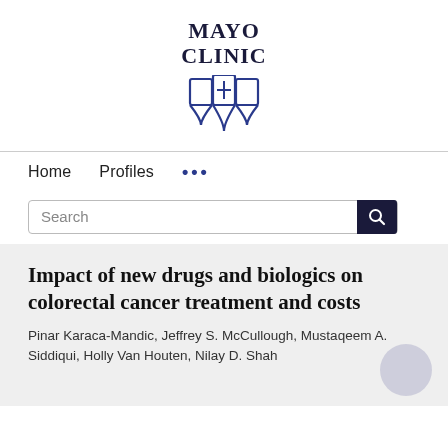[Figure (logo): Mayo Clinic logo with shield emblem and text 'MAYO CLINIC']
Home   Profiles   ...
Search
Impact of new drugs and biologics on colorectal cancer treatment and costs
Pinar Karaca-Mandic, Jeffrey S. McCullough, Mustaqeem A. Siddiqui, Holly Van Houten, Nilay D. Shah